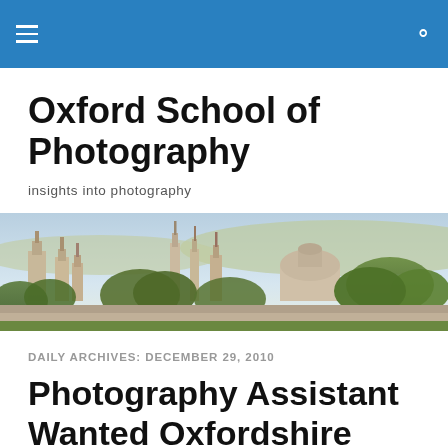Oxford School of Photography — site header bar with menu and search icons
Oxford School of Photography
insights into photography
[Figure (photo): Panoramic skyline view of Oxford showing historic spires, towers, and a dome against a light blue hazy sky, with trees and rooftops in the foreground.]
DAILY ARCHIVES: DECEMBER 29, 2010
Photography Assistant Wanted Oxfordshire